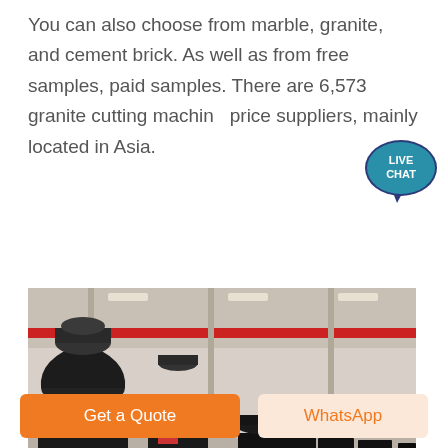You can also choose from marble, granite, and cement brick. As well as from free samples, paid samples. There are 6,573 granite cutting machine price suppliers, mainly located in Asia.
[Figure (photo): Industrial factory floor with multiple large black cone crusher machines arranged in rows, with red crane beams visible overhead in a large warehouse facility.]
[Figure (photo): Close-up view of orange/rust-colored cylindrical industrial crusher components, with a factory building visible in the background.]
Get a Quote
WhatsApp